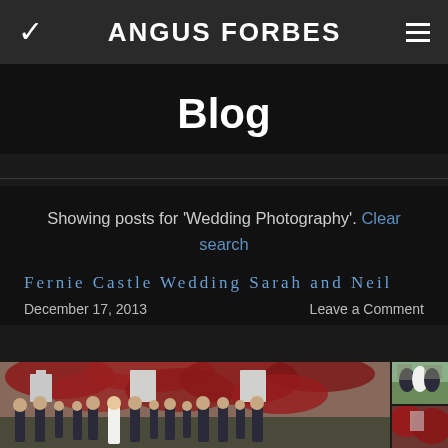ANGUS FORBES
Blog
Showing posts for 'Wedding Photography'. Clear search
Fernie Castle Wedding Sarah and Neil
December 17, 2013    Leave a Comment
[Figure (photo): Wedding party group photo in front of Fernie Castle covered in red ivy, with wedding guests in kilts and formal wear. Side thumbnails show additional wedding photos outdoors.]